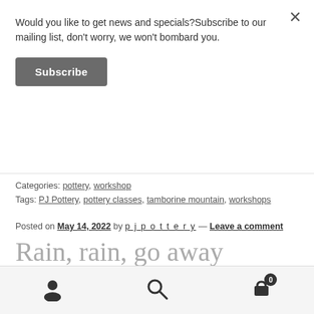Would you like to get news and specials?Subscribe to our mailing list, don't worry, we won't bombard you.
Subscribe
Categories: pottery, workshop
Tags: PJ Pottery, pottery classes, tamborine mountain, workshops
Posted on May 14, 2022 by p j p o t t e r y — Leave a comment
Rain, rain, go away